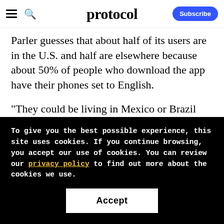protocol — Subscribe
Parler guesses that about half of its users are in the U.S. and half are elsewhere because about 50% of people who download the app have their phones set to English.
"They could be living in Mexico or Brazil and have their phone in English," he said. "We just don't know."
To give you the best possible experience, this site uses cookies. If you continue browsing, you accept our use of cookies. You can review our privacy policy to find out more about the cookies we use.
Accept